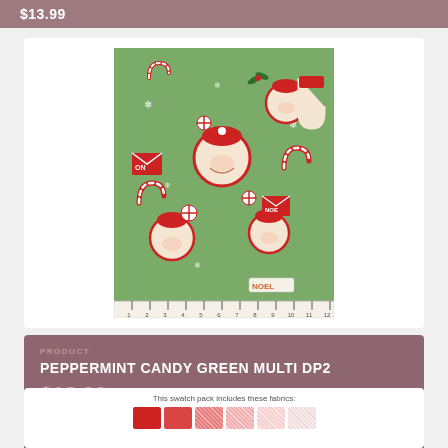$13.99
[Figure (photo): Christmas fabric with Santa faces, candy canes, peppermint candies, snowflakes, and gift boxes on a green background. Fabric is shown with a ruler below measuring 1 to 12 inches.]
PRODUCT
PEPPERMINT CANDY GREEN MULTI DP2
$13.99
[Figure (illustration): Swatch pack color samples showing red, pink, and light pink fabric swatches. Caption reads: This swatch pack includes these fabrics:]